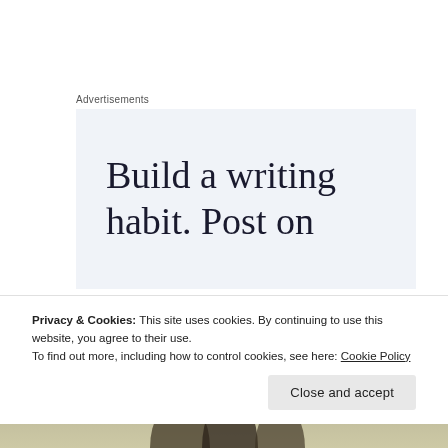Advertisements
[Figure (other): Advertisement banner with text 'Build a writing habit. Post on' on a light blue-gray background]
[Figure (photo): Photo area with olive/tan gradient background and silhouette figures at the bottom]
Privacy & Cookies: This site uses cookies. By continuing to use this website, you agree to their use.
To find out more, including how to control cookies, see here: Cookie Policy
Close and accept